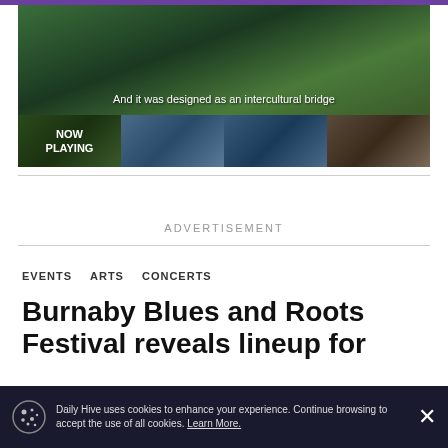[Figure (screenshot): Video player showing aerial green forest footage with subtitle text 'And it was designed as an intercultural bridge']
[Figure (screenshot): Thumbnail strip with four video thumbnails: NOW PLAYING (forest), aerial road curve, foggy mountains, gallery interior]
ADVERTISEMENT
EVENTS   ARTS   CONCERTS
Burnaby Blues and Roots Festival reveals lineup for 2023 edition
Daily Hive uses cookies to enhance your experience. Continue browsing to accept the use of all cookies. Learn More.